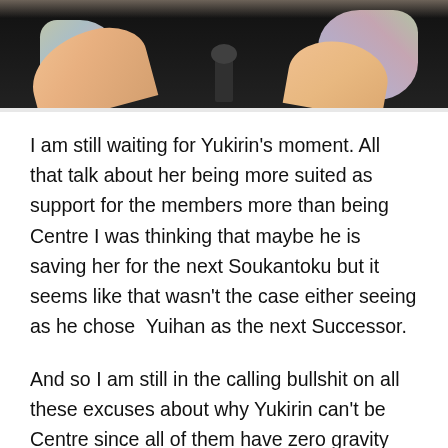[Figure (photo): Cropped photo showing people at a microphone, partial view of arms and clothing with floral patterns against a dark background]
I am still waiting for Yukirin’s moment. All that talk about her being more suited as support for the members more than being Centre I was thinking that maybe he is saving her for the next Soukantoku but it seems like that wasn’t the case either seeing as he chose  Yuihan as the next Successor.
And so I am still in the calling bullshit on all these excuses about why Yukirin can’t be Centre since all of them have zero gravity behind them! Oh well, it always puts a smile on my face when I see members, especially Yukirin’s very own Senpai show great appreciation for Yukirin. It seems like she does much more behind the scenes than we will ever know but I am always happy to see these members